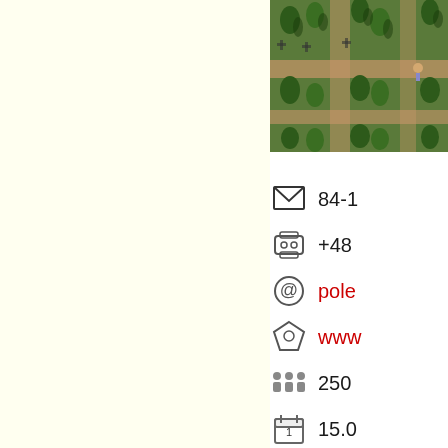[Figure (photo): Aerial view of a garden or cemetery with cypress trees and geometric pathways, photographed from above showing shadows and green trees arranged in rows.]
84-1
+48
pole
www
250
15.0
Voivodeship: P
Balt